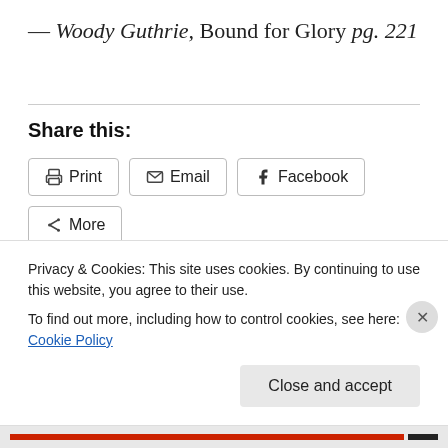— Woody Guthrie, Bound for Glory pg. 221
Share this:
Print | Email | Facebook | More
Privacy & Cookies: This site uses cookies. By continuing to use this website, you agree to their use.
To find out more, including how to control cookies, see here: Cookie Policy
Close and accept